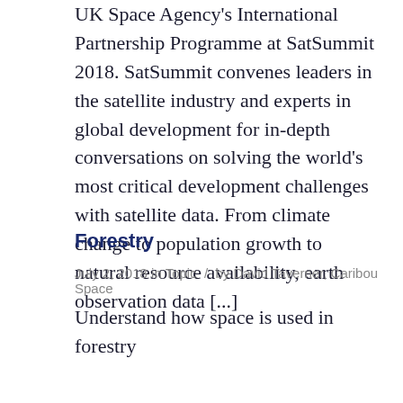UK Space Agency's International Partnership Programme at SatSummit 2018. SatSummit convenes leaders in the satellite industry and experts in global development for in-depth conversations on solving the world's most critical development challenges with satellite data. From climate change to population growth to natural resource availability, earth observation data [...]
Forestry
July 2, 2018 in Topic  /  by David Taverner, Caribou Space
Understand how space is used in forestry